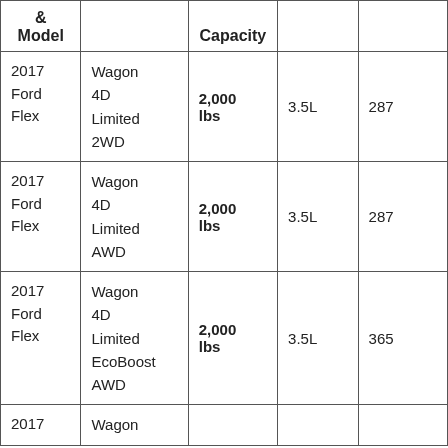| & Model |  | Capacity |  |  |
| --- | --- | --- | --- | --- |
| 2017 Ford Flex | Wagon 4D Limited 2WD | 2,000 lbs | 3.5L | 287 |
| 2017 Ford Flex | Wagon 4D Limited AWD | 2,000 lbs | 3.5L | 287 |
| 2017 Ford Flex | Wagon 4D Limited EcoBoost AWD | 2,000 lbs | 3.5L | 365 |
| 2017 | Wagon |  |  |  |